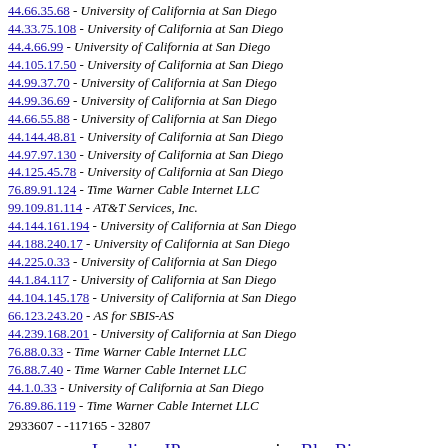44.66.35.68 - University of California at San Diego
44.33.75.108 - University of California at San Diego
44.4.66.99 - University of California at San Diego
44.105.17.50 - University of California at San Diego
44.99.37.70 - University of California at San Diego
44.99.36.69 - University of California at San Diego
44.66.55.88 - University of California at San Diego
44.144.48.81 - University of California at San Diego
44.97.97.130 - University of California at San Diego
44.125.45.78 - University of California at San Diego
76.89.91.124 - Time Warner Cable Internet LLC
99.109.81.114 - AT&T Services, Inc.
44.144.161.194 - University of California at San Diego
44.188.240.17 - University of California at San Diego
44.225.0.33 - University of California at San Diego
44.1.84.117 - University of California at San Diego
44.104.145.178 - University of California at San Diego
66.123.243.20 - AS for SBIS-AS
44.239.168.201 - University of California at San Diego
76.88.0.33 - Time Warner Cable Internet LLC
76.88.7.40 - Time Warner Cable Internet LLC
44.1.0.33 - University of California at San Diego
76.89.86.119 - Time Warner Cable Internet LLC
2933607 - -117165 - 32807
Localiser-IP.com, un service BlueBiz
[Figure (logo): W3C HTML 4.01 validation badge]